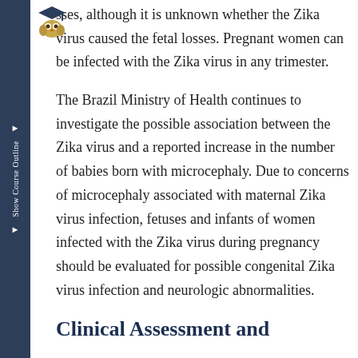[Figure (logo): Owl with graduation cap icon in top left corner]
sses, although it is unknown whether the Zika virus caused the fetal losses. Pregnant women can be infected with the Zika virus in any trimester.
The Brazil Ministry of Health continues to investigate the possible association between the Zika virus and a reported increase in the number of babies born with microcephaly. Due to concerns of microcephaly associated with maternal Zika virus infection, fetuses and infants of women infected with the Zika virus during pregnancy should be evaluated for possible congenital Zika virus infection and neurologic abnormalities.
Clinical Assessment and